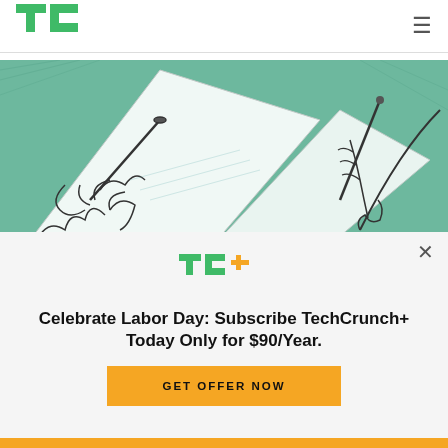[Figure (logo): TechCrunch TC logo in green]
[Figure (illustration): Hands drawing/writing on paper, teal and white illustration style]
[Figure (logo): TC+ TechCrunch Plus logo in green with orange plus sign]
Celebrate Labor Day: Subscribe TechCrunch+ Today Only for $90/Year.
GET OFFER NOW